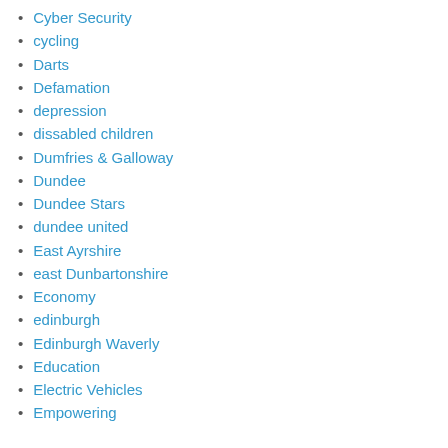Cyber Security
cycling
Darts
Defamation
depression
dissabled children
Dumfries & Galloway
Dundee
Dundee Stars
dundee united
East Ayrshire
east Dunbartonshire
Economy
edinburgh
Edinburgh Waverly
Education
Electric Vehicles
Empowering